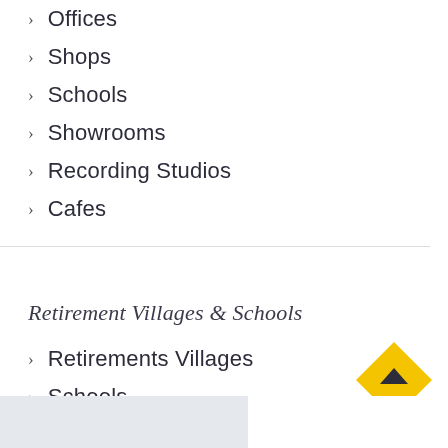Offices
Shops
Schools
Showrooms
Recording Studios
Cafes
Retirement Villages & Schools
Retirements Villages
Schools